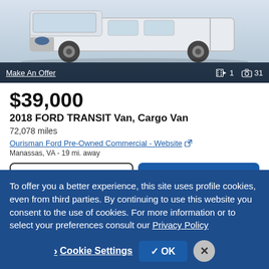[Figure (photo): White Ford Transit cargo van shown from front/side angle against a light background. Dark overlay bar at bottom shows 'Make An Offer' link and photo/video counts (1 video, 31 photos).]
$39,000
2018 FORD TRANSIT Van, Cargo Van
72,078 miles
Ourisman Ford Pre-Owned Commercial - Website
Manassas, VA - 19 mi. away
Email
Call
Video chat with this dealer
To offer you a better experience, this site uses profile cookies, even from third parties. By continuing to use this website you consent to the use of cookies. For more information or to select your preferences consult our Privacy Policy
Cookie Settings
✓ OK